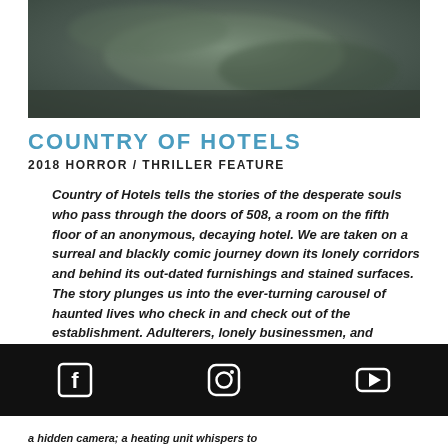[Figure (photo): Dark blurry background photo, appears to be an outdoor or atmospheric scene in muted greens and grays]
COUNTRY OF HOTELS
2018 HORROR / THRILLER FEATURE
Country of Hotels tells the stories of the desperate souls who pass through the doors of 508, a room on the fifth floor of an anonymous, decaying hotel. We are taken on a surreal and blackly comic journey down its lonely corridors and behind its out-dated furnishings and stained surfaces. The story plunges us into the ever-turning carousel of haunted lives who check in and check out of the establishment. Adulterers, lonely businessmen, and hustlers grapple with their demons whilst a prying, occasionally sinister hotel staff always seems to
[Figure (other): Black footer bar with Facebook, Instagram, and YouTube social media icons]
a hidden camera; a heating unit whispers to